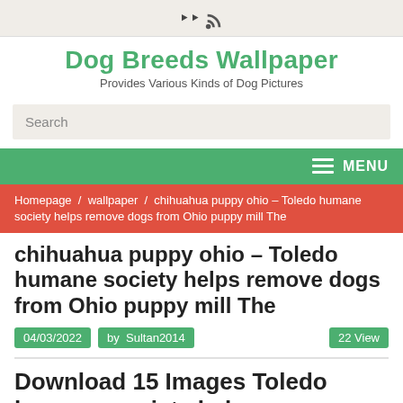RSS icon
Dog Breeds Wallpaper
Provides Various Kinds of Dog Pictures
Search
MENU
Homepage / wallpaper / chihuahua puppy ohio – Toledo humane society helps remove dogs from Ohio puppy mill The
chihuahua puppy ohio – Toledo humane society helps remove dogs from Ohio puppy mill The
04/03/2022   by  Sultan2014   22 View
Download 15 Images Toledo humane society helps remove